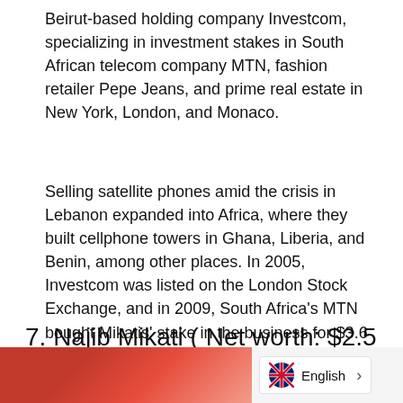Beirut-based holding company Investcom, specializing in investment stakes in South African telecom company MTN, fashion retailer Pepe Jeans, and prime real estate in New York, London, and Monaco.
Selling satellite phones amid the crisis in Lebanon expanded into Africa, where they built cellphone towers in Ghana, Liberia, and Benin, among other places. In 2005, Investcom was listed on the London Stock Exchange, and in 2009, South Africa's MTN bought Mikatis' stake in the business for $3.6 billion. Taha Mikati net worth is $2.5 Billion.
7. Najib Mikati ( Net worth: $2.5 Billion )
[Figure (photo): Partial photo with red/pink tones on the left, and a language selector widget showing a UK flag and 'English' with a right arrow on the right.]